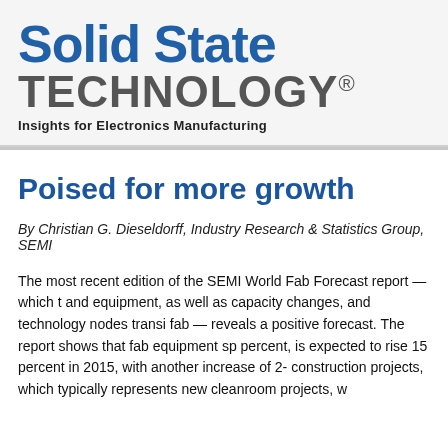[Figure (logo): Solid State Technology magazine logo with tagline 'Insights for Electronics Manufacturing']
Poised for more growth
By Christian G. Dieseldorff, Industry Research & Statistics Group, SEMI
The most recent edition of the SEMI World Fab Forecast report — which t and equipment, as well as capacity changes, and technology nodes transi fab — reveals a positive forecast. The report shows that fab equipment sp percent, is expected to rise 15 percent in 2015, with another increase of 2- construction projects, which typically represents new cleanroom projects, w